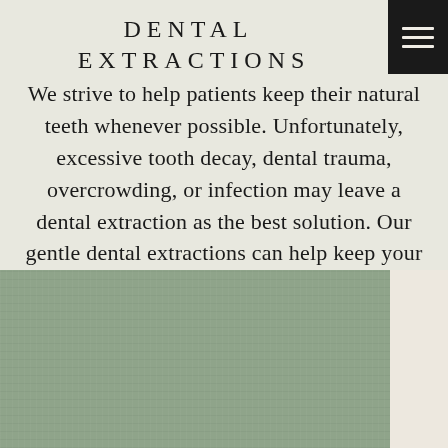DENTAL EXTRACTIONS
We strive to help patients keep their natural teeth whenever possible. Unfortunately, excessive tooth decay, dental trauma, overcrowding, or infection may leave a dental extraction as the best solution. Our gentle dental extractions can help keep your smile healthy.
[Figure (photo): Sage green mottled/textured panel occupying the bottom-left portion of the page, with a cream-colored panel at the bottom right.]